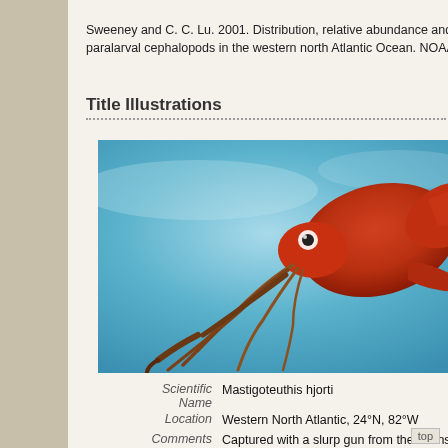Sweeney and C. C. Lu. 2001. Distribution, relative abundance and developmental morphology of paralarval cephalopods in the western north Atlantic Ocean. NOAA Technical Report NMFS 152: 1-58.
Title Illustrations
[Figure (photo): Photo of a red/orange squid (Mastigoteuthis hjorti) against a blue background, viewed from the side. The squid appears to be a preserved specimen with tentacles visible.]
| Scientific Name | Mastigoteuthis hjorti |
| Location | Western North Atlantic, 24°N, 82°W |
| Comments | Captured with a slurp gun from the Johnson Sea Link II submersible. |
| Specimen Condition | Preserved |
| View | Side |
| Size | 48 mm ML |
| Image Use | (cc) This media file is licensed under the Creative |